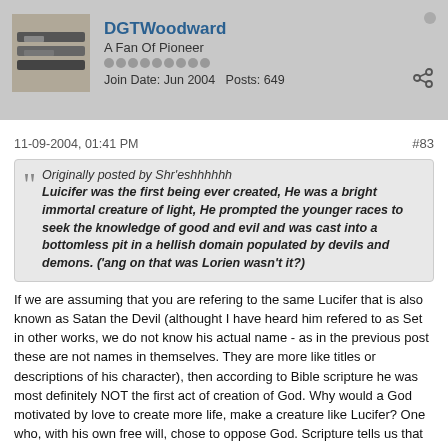DGTWoodward | A Fan Of Pioneer | Join Date: Jun 2004  Posts: 649
11-09-2004, 01:41 PM
#83
Originally posted by Shr'eshhhhhh
Luicifer was the first being ever created, He was a bright immortal creature of light, He prompted the younger races to seek the knowledge of good and evil and was cast into a bottomless pit in a hellish domain populated by devils and demons. ('ang on that was Lorien wasn't it?)
If we are assuming that you are refering to the same Lucifer that is also known as Satan the Devil (althought I have heard him refered to as Set in other works, we do not know his actual name - as in the previous post these are not names in themselves. They are more like titles or descriptions of his character), then according to Bible scripture he was most definitely NOT the first act of creation of God. Why would a God motivated by love to create more life, make a creature like Lucifer? One who, with his own free will, chose to oppose God. Scripture tells us that God's first act of creation was 'Logos', the word (or mouthpiece - if you like) of God.